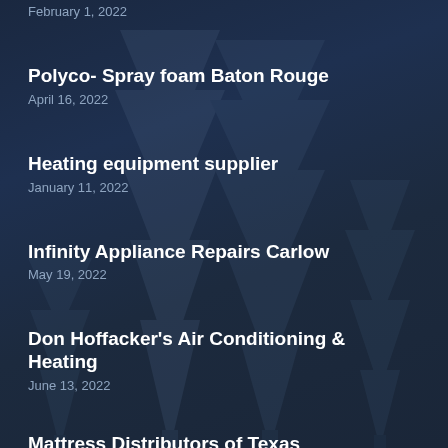February 1, 2022
Polyco- Spray foam Baton Rouge
April 16, 2022
Heating equipment supplier
January 11, 2022
Infinity Appliance Repairs Carlow
May 19, 2022
Don Hoffacker's Air Conditioning & Heating
June 13, 2022
Mattress Distributors of Texas